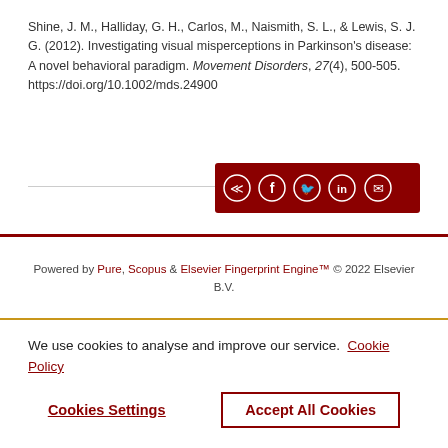Shine, J. M., Halliday, G. H., Carlos, M., Naismith, S. L., & Lewis, S. J. G. (2012). Investigating visual misperceptions in Parkinson's disease: A novel behavioral paradigm. Movement Disorders, 27(4), 500-505. https://doi.org/10.1002/mds.24900
[Figure (other): Dark red share bar with icons for share, Facebook, Twitter, LinkedIn, and email]
Powered by Pure, Scopus & Elsevier Fingerprint Engine™ © 2022 Elsevier B.V.
We use cookies to analyse and improve our service. Cookie Policy
Cookies Settings   Accept All Cookies